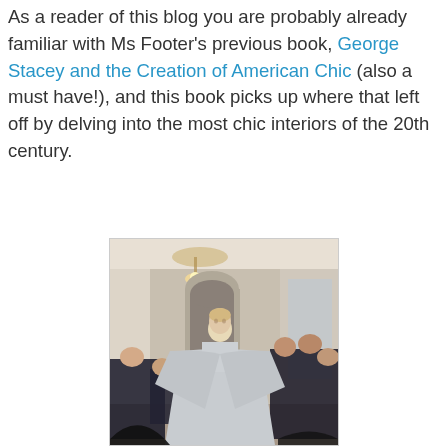As a reader of this blog you are probably already familiar with Ms Footer's previous book, George Stacey and the Creation of American Chic (also a must have!), and this book picks up where that left off by delving into the most chic interiors of the 20th century.
[Figure (photo): A model wearing a voluminous silver/grey satin gown walking a fashion runway in an ornate white room with chandelier; audience seated on both sides watching.]